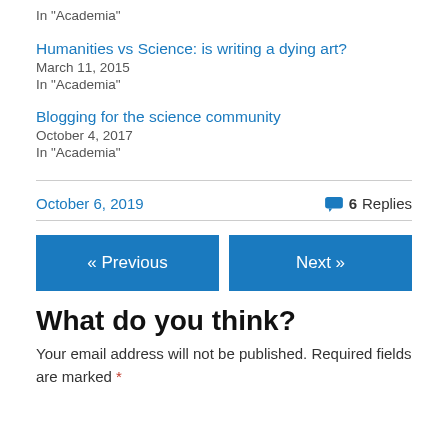In "Academia"
Humanities vs Science: is writing a dying art?
March 11, 2015
In "Academia"
Blogging for the science community
October 4, 2017
In "Academia"
October 6, 2019
6 Replies
« Previous
Next »
What do you think?
Your email address will not be published. Required fields are marked *